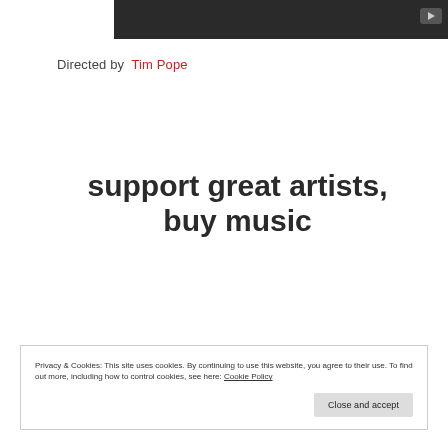[Figure (screenshot): Dark video thumbnail with a YouTube-style play button in the upper right corner]
Directed by  Tim Pope
support great artists, buy music
Privacy & Cookies: This site uses cookies. By continuing to use this website, you agree to their use. To find out more, including how to control cookies, see here: Cookie Policy
Close and accept